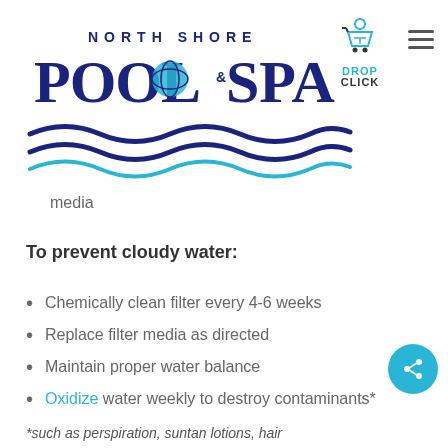[Figure (logo): North Shore Pool & Spa logo with wave graphics and Drop Click cart icon]
media
To prevent cloudy water:
Chemically clean filter every 4-6 weeks
Replace filter media as directed
Maintain proper water balance
Oxidize water weekly to destroy contaminants*
*such as perspiration, suntan lotions, hair